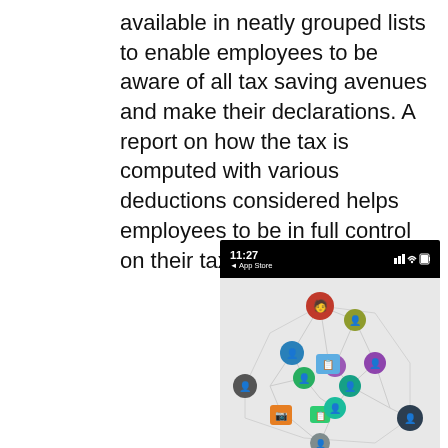available in neatly grouped lists to enable employees to be aware of all tax saving avenues and make their declarations. A report on how the tax is computed with various deductions considered helps employees to be in full control on their taxes
[Figure (screenshot): Mobile app screenshot showing a network graph of connected avatar icons on a grey background, with iOS status bar showing 11:27, App Store back button, signal, wifi and battery indicators.]